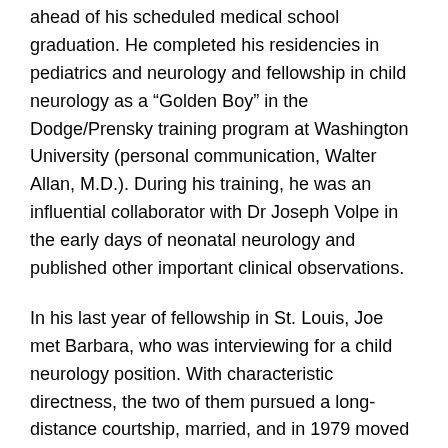ahead of his scheduled medical school graduation. He completed his residencies in pediatrics and neurology and fellowship in child neurology as a “Golden Boy” in the Dodge/Prensky training program at Washington University (personal communication, Walter Allan, M.D.). During his training, he was an influential collaborator with Dr Joseph Volpe in the early days of neonatal neurology and published other important clinical observations.
In his last year of fellowship in St. Louis, Joe met Barbara, who was interviewing for a child neurology position. With characteristic directness, the two of them pursued a long- distance courtship, married, and in 1979 moved to Wilmette, Illinois where Joe became the first Head of Child Neurology at Evanston Hospital (now Evanston- Northwestern Medical Center [ENH]), and Barbara completed her three-year fellowship in child